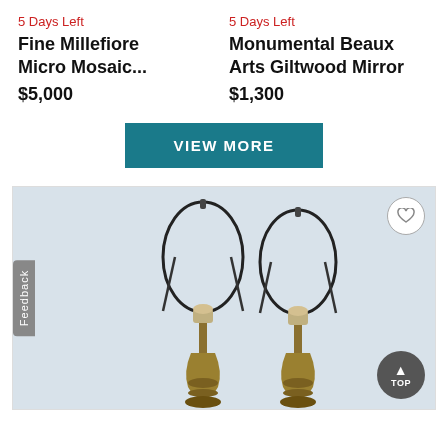5 Days Left
Fine Millefiore Micro Mosaic...
$5,000
5 Days Left
Monumental Beaux Arts Giltwood Mirror
$1,300
VIEW MORE
[Figure (photo): Two tall brass table lamps without shades, showing the lamp harps and gold/brass bodies, photographed against a light grey background. A 'Feedback' tab is visible on the left edge, a heart/favorite button in the top right, and a 'TOP' scroll button in the bottom right.]